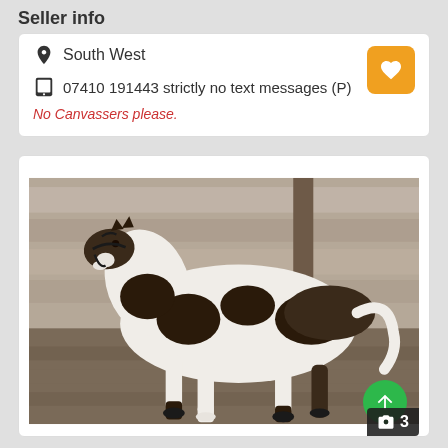Seller info
South West
07410 191443 strictly no text messages (P)
No Canvassers please.
[Figure (photo): A black and white paint/pinto horse trotting in an indoor arena, wearing a halter]